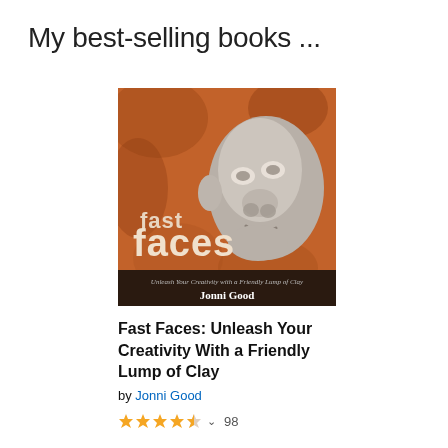My best-selling books ...
[Figure (illustration): Book cover for 'Fast Faces: Unleash Your Creativity with a Friendly Lump of Clay' by Jonni Good. Shows a clay sculpted face on a terracotta/orange background with the title 'fast faces' in large text and a subtitle/author bar at the bottom.]
Fast Faces: Unleash Your Creativity With a Friendly Lump of Clay
by Jonni Good
★★★★☆ ~ 98